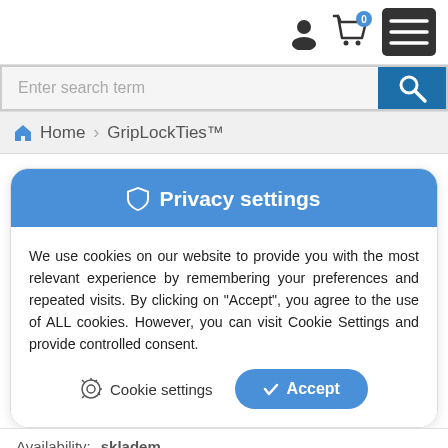[Figure (screenshot): Top navigation bar with user account icon, shopping cart icon with badge '0', and hamburger menu icon]
[Figure (screenshot): Search bar with placeholder 'Enter search term' and blue search button with magnifying glass icon]
Home > GripLockTies™
🛡 Privacy settings
We use cookies on our website to provide you with the most relevant experience by remembering your preferences and repeated visits. By clicking on "Accept", you agree to the use of ALL cookies. However, you can visit Cookie Settings and provide controlled consent.
Cookie settings   ✓ Accept
Availability:   skladem